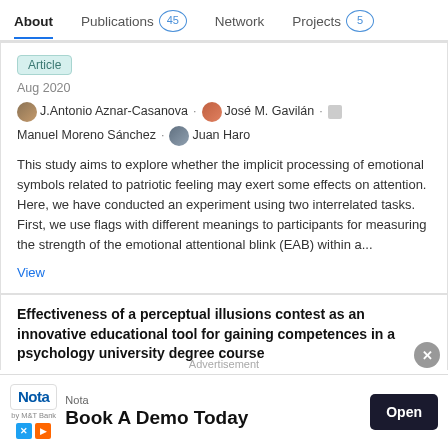About  Publications 45  Network  Projects 5
Article
Aug 2020
J.Antonio Aznar-Casanova · José M. Gavilán · Manuel Moreno Sánchez · Juan Haro
This study aims to explore whether the implicit processing of emotional symbols related to patriotic feeling may exert some effects on attention. Here, we have conducted an experiment using two interrelated tasks. First, we use flags with different meanings to participants for measuring the strength of the emotional attentional blink (EAB) within a...
View
Effectiveness of a perceptual illusions contest as an innovative educational tool for gaining competences in a psychology university degree course
Advertisement
Nota  Nota  Book A Demo Today  Open